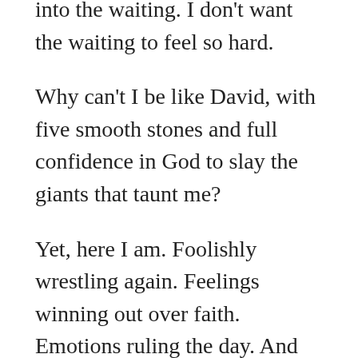into the waiting. I don't want the waiting to feel so hard.
Why can't I be like David, with five smooth stones and full confidence in God to slay the giants that taunt me?
Yet, here I am. Foolishly wrestling again. Feelings winning out over faith. Emotions ruling the day. And wanting to wish that away so that my unbelief disappears.
I do believe! Help my unbelief!